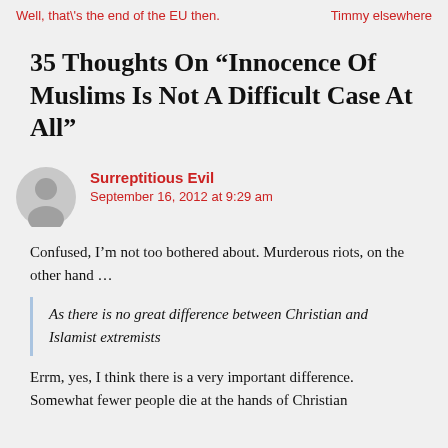Well, that's the end of the EU then.    Timmy elsewhere
35 Thoughts On “Innocence Of Muslims Is Not A Difficult Case At All”
Surreptitious Evil
September 16, 2012 at 9:29 am
Confused, I'm not too bothered about. Murderous riots, on the other hand ...
As there is no great difference between Christian and Islamist extremists
Errm, yes, I think there is a very important difference. Somewhat fewer people die at the hands of Christian...